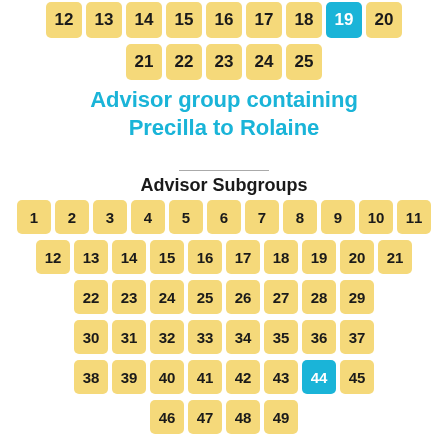[Figure (other): Top partial grid of numbered cells (12-20 and 21-25), with cell 19 highlighted in blue]
Advisor group containing Precilla to Rolaine
Advisor Subgroups
[Figure (other): Grid of numbered subgroup cells 1-49 arranged in rows, with cell 44 highlighted in blue]